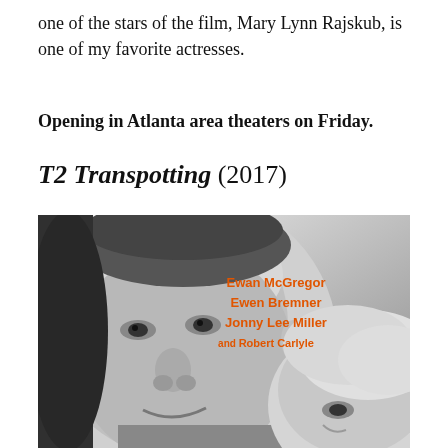one of the stars of the film, Mary Lynn Rajskub, is one of my favorite actresses.
Opening in Atlanta area theaters on Friday.
T2 Transpotting (2017)
[Figure (photo): Black and white movie poster for T2 Transpotting (2017) showing two men's faces in close-up. Orange text lists cast: Ewan McGregor, Ewen Bremner, Jonny Lee Miller and Robert Carlyle.]